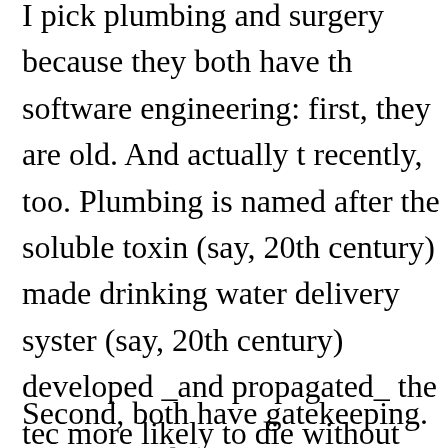I pick plumbing and surgery because they both have things in common with software engineering: first, they are old. And actually they became safe recently, too. Plumbing is named after the soluble toxin lead, and only (say, 20th century) made drinking water delivery systems safe. Surgery (say, 20th century) developed _and propagated_ the techniques to be more likely to die without surgery than with. Both are mature. Software engineering, which is merely young and fatal.
Second, both have gatekeeping. Discipline doesn't scale unless people are willing to do things the way that's become accepted. Malpractice isn't about that the outcome was bad, it's about discovering that the doctor wasn't following good practice.
You invoke the dictionary, so of course I invoke the etymology: both "a discipline" and "discipline" both come from the idea of being a student. We've got a lot of teaching in software engineering, in computer science and informatics, but not really in creating software. It might be a good idea to have a protected profession, a guild system. But we don't have that, and any attempt to define it would be met with opposition.